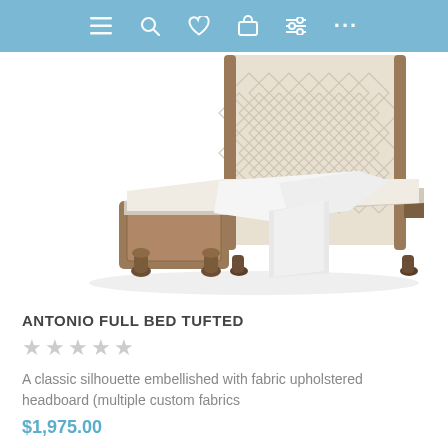Navigation bar with menu, search, wishlist, cart, filters, and more icons
[Figure (photo): Product photo of Antonio Full Bed Tufted — a classic wooden bed frame with dark walnut-finish carved legs and footboard, topped with a tall tufted cream/ivory upholstered headboard, with white bedding/sheets partially draped, photographed on white background.]
ANTONIO FULL BED TUFTED
★★★★★ (5 empty star rating display in light gray)
A classic silhouette embellished with fabric upholstered headboard (multiple custom fabrics
$1,975.00